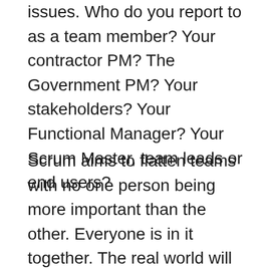issues. Who do you report to as a team member? Your contractor PM? The Government PM? Your stakeholders? Your Functional Manager? Your Scrum Master, team leads or end users?
Scrum aims to flatten teams with no one person being more important than the other. Everyone is in it together. The real world will never be like that, but we can get a little closer by allowing the project teams the latitude and flexibility to be self-forming.